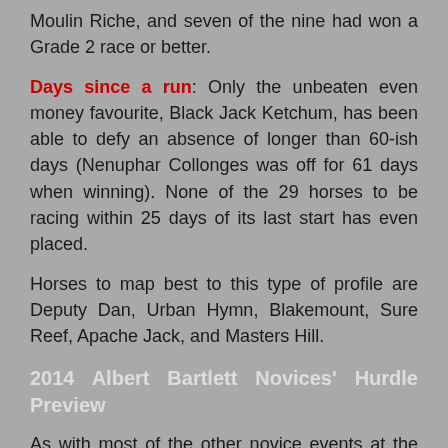Moulin Riche, and seven of the nine had won a Grade 2 race or better.
Days since a run: Only the unbeaten even money favourite, Black Jack Ketchum, has been able to defy an absence of longer than 60-ish days (Nenuphar Collonges was off for 61 days when winning). None of the 29 horses to be racing within 25 days of its last start has even placed.
Horses to map best to this type of profile are Deputy Dan, Urban Hymn, Blakemount, Sure Reef, Apache Jack, and Masters Hill.
2014 Albert Bartlett Novices' Hurdle Preview
As with most of the other novice events at the Festival, our analysis from a statistical view of the